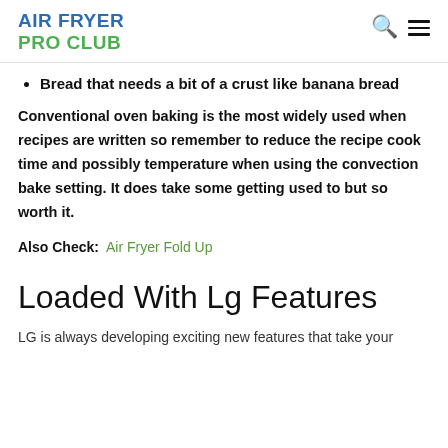AIR FRYER PRO CLUB
Bread that needs a bit of a crust like banana bread
Conventional oven baking is the most widely used when recipes are written so remember to reduce the recipe cook time and possibly temperature when using the convection bake setting. It does take some getting used to but so worth it.
Also Check: Air Fryer Fold Up
Loaded With Lg Features
LG is always developing exciting new features that take your